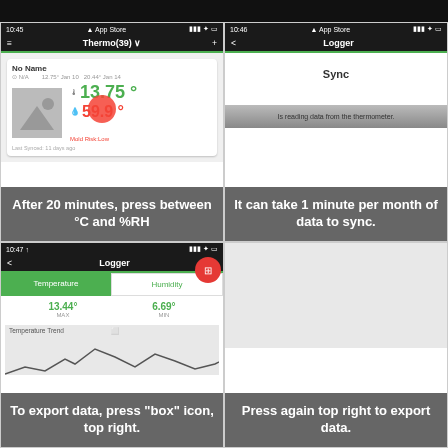[Figure (screenshot): iPhone screenshot showing Thermo(39) app with No Name device, temperature 13.75°, humidity 59.9°, Mold Risk: Low]
After 20 minutes, press between °C and %RH
[Figure (screenshot): iPhone screenshot showing Logger screen with Sync title and 'Is reading data from the thermometer.']
It can take 1 minute per month of data to sync.
[Figure (screenshot): iPhone screenshot showing Logger screen with Temperature/Humidity tabs, 13.44° MAX, 6.69° MIN, and Temperature Trend graph]
To export data, press "box" icon, top right.
Press again top right to export data.